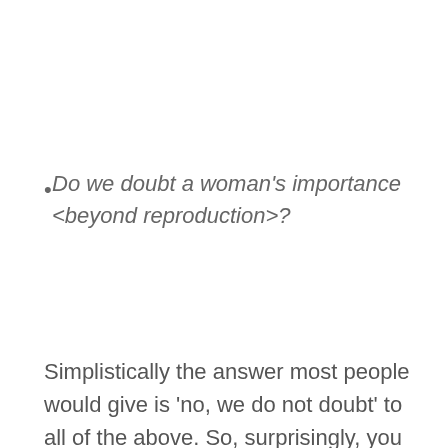Do we doubt a woman's importance <beyond reproduction>?
Simplistically the answer most people would give is 'no, we do not doubt' to all of the above. So, surprisingly, you would